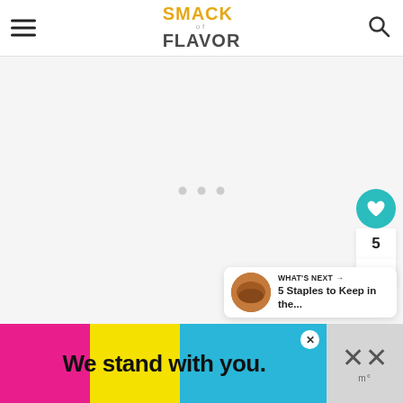Smack of Flavor — website header with hamburger menu, logo, and search icon
[Figure (screenshot): Main content area with light gray background, three small gray dots centered (image carousel placeholder)]
[Figure (infographic): Side action panel: teal heart button, count of 5, white share button]
5
[Figure (infographic): What's Next card with thumbnail and text: WHAT'S NEXT → 5 Staples to Keep in the...]
WHAT'S NEXT → 5 Staples to Keep in the...
[Figure (screenshot): Ad banner: We stand with you. on multicolor (pink, yellow, cyan) background with black text, X close button, and gray right panel with X marks]